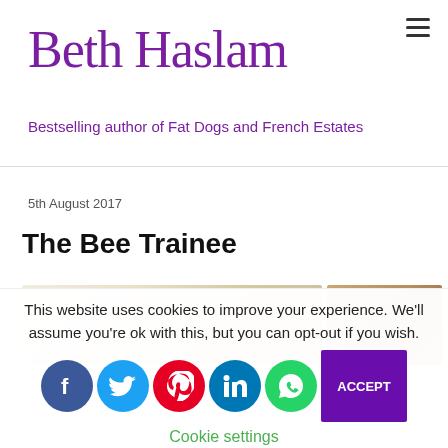Beth Haslam
Bestselling author of Fat Dogs and French Estates
5th August 2017
The Bee Trainee
[Figure (photo): Partial image of what appears to be a honeycomb or natural texture, split into two sections]
This website uses cookies to improve your experience. We'll assume you're ok with this, but you can opt-out if you wish.
Cookie settings
[Figure (infographic): Row of social media share icons: Facebook, Twitter, Pinterest, LinkedIn, WhatsApp, and an Accept button]